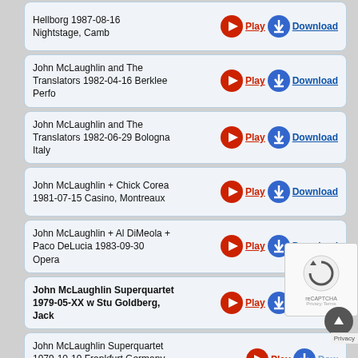Hellborg 1987-08-16 Nightstage, Camb
John McLaughlin and The Translators 1982-04-16 Berklee Perfo
John McLaughlin and The Translators 1982-06-29 Bologna Italy
John McLaughlin + Chick Corea 1981-07-15 Casino, Montreaux
John McLaughlin + Al DiMeola + Paco DeLucia 1983-09-30 Opera
John McLaughlin Superquartet 1979-05-XX w Stu Goldberg, Jack
John McLaughlin Superquartet 1979-10-19 Frankfurt Germany, w
John McLaughlin Trio 1988-08-